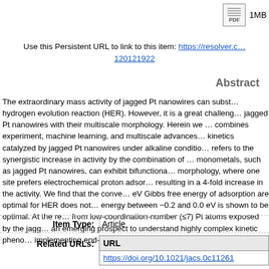[Figure (other): PDF icon with document lines and 'PDF' label]
1MB
Use this Persistent URL to link to this item: https://resolver.c… 120121922
Abstract
The extraordinary mass activity of jagged Pt nanowires can subst… hydrogen evolution reaction (HER). However, it is a great challeng… jagged Pt nanowires with their multiscale morphology. Herein we … combines experiment, machine learning, and multiscale advances… kinetics catalyzed by jagged Pt nanowires under alkaline conditio… refers to the synergistic increase in activity by the combination of … monometals, such as jagged Pt nanowires, can exhibit bifunctiona… morphology, where one site prefers electrochemical proton adsor… resulting in a 4-fold increase in the activity. We find that the conve… eV Gibbs free energy of adsorption are optimal for HER does not… energy between −0.2 and 0.0 eV is shown to be optimal. At the re… from low-coordination-number (≤7) Pt atoms exposed by the jagg… an emerging prospect to understand highly complex kinetic pheno… implementing end-to-end multiscale strategies.
| Item Type: | Article |
| --- | --- |
| Related URLs: | URL
https://doi.org/10.1021/jacs.0c11261 |